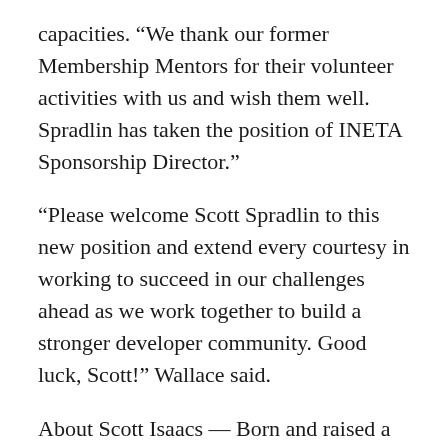capacities. “We thank our former Membership Mentors for their volunteer activities with us and wish them well. Spradlin has taken the position of INETA Sponsorship Director.”
“Please welcome Scott Spradlin to this new position and extend every courtesy in working to succeed in our challenges ahead as we work together to build a stronger developer community. Good luck, Scott!” Wallace said.
About Scott Isaacs — Born and raised a stone’s throw from California’s Silicon Valley, Scott Isaacs discovered an early interest in computers.  As with many other 30-somethings in IT and software development, it started